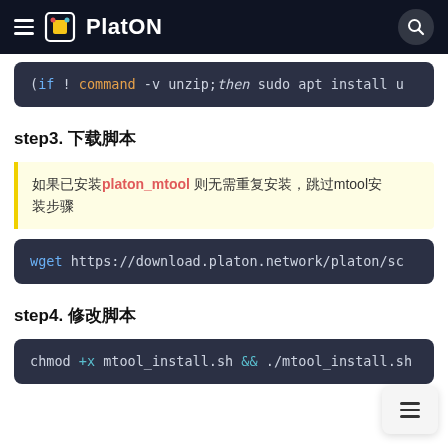PlatON
[Figure (screenshot): Code block showing: (if ! command -v unzip;then sudo apt install u]
step3. 下载脚本
如果已安装platon_mtool 则无需重复安装，跳过mtool安装步骤
[Figure (screenshot): Code block: wget https://download.platon.network/platon/sc]
step4. 修改脚本
[Figure (screenshot): Code block: chmod +x mtool_install.sh && ./mtool_install.sh]